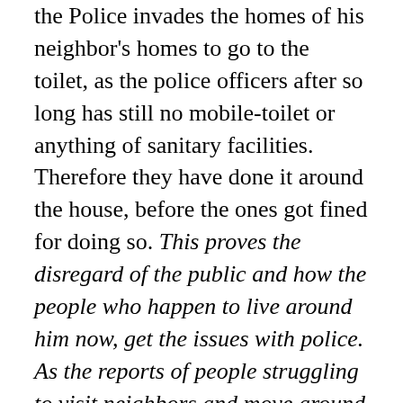the Police invades the homes of his neighbor's homes to go to the toilet, as the police officers after so long has still no mobile-toilet or anything of sanitary facilities. Therefore they have done it around the house, before the ones got fined for doing so. This proves the disregard of the public and how the people who happen to live around him now, get the issues with police. As the reports of people struggling to visit neighbors and move around the area, as the police check everybody.
With that in mind, people should know by addition to the Besigye home under siege, the people around also besieged and even "invaded" by the Police. That says how far this guy's goes with efforts and reasons. As still